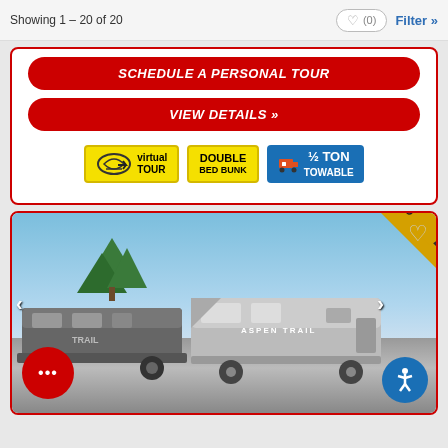Showing 1 - 20 of 20
[Figure (screenshot): Red rounded button: SCHEDULE A PERSONAL TOUR]
[Figure (screenshot): Red rounded button: VIEW DETAILS »]
[Figure (screenshot): Badges: Virtual Tour (yellow), Double Bed Bunk (yellow), ½ Ton Towable (blue)]
[Figure (photo): RV listing photo showing Aspen Trail travel trailer with FEATURED diagonal banner. Two RV images side by side.]